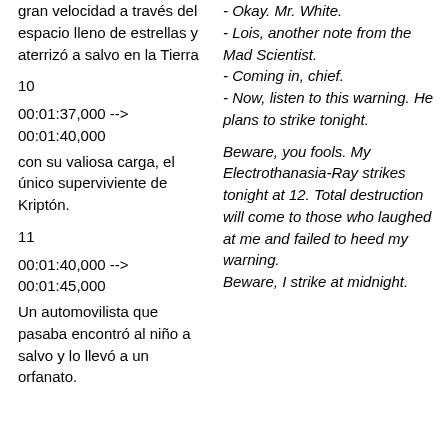gran velocidad a través del espacio lleno de estrellas y aterrizó a salvo en la Tierra
- Okay. Mr. White.
- Lois, another note from the Mad Scientist.
- Coming in, chief.
- Now, listen to this warning. He plans to strike tonight.
10
00:01:37,000 --> 00:01:40,000
con su valiosa carga, el único superviviente de Kriptón.
Beware, you fools. My Electrothanasia-Ray strikes tonight at 12. Total destruction will come to those who laughed at me and failed to heed my warning.
Beware, I strike at midnight.
11
00:01:40,000 --> 00:01:45,000
Un automovilista que pasaba encontró al niño a salvo y lo llevó a un orfanato.